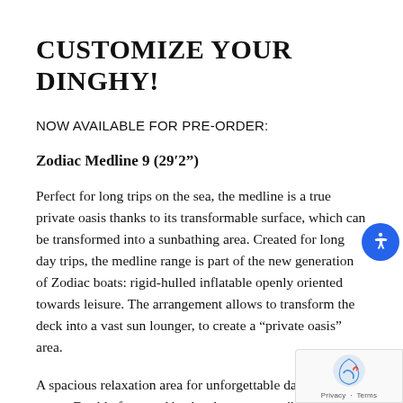CUSTOMIZE YOUR DINGHY!
NOW AVAILABLE FOR PRE-ORDER:
Zodiac Medline 9 (29′2”)
Perfect for long trips on the sea, the medline is a true private oasis thanks to its transformable surface, which can be transformed into a sunbathing area. Created for long day trips, the medline range is part of the new generation of Zodiac boats: rigid-hulled inflatable openly oriented towards leisure. The arrangement allows to transform the deck into a vast sun lounger, to create a “private oasis” area.
A spacious relaxation area for unforgettable days on the water. Double front and back saloon, convertible to sundeck area. Up to 14 seats in standard equipment, integrated kitchen with sink (optional : grill), console